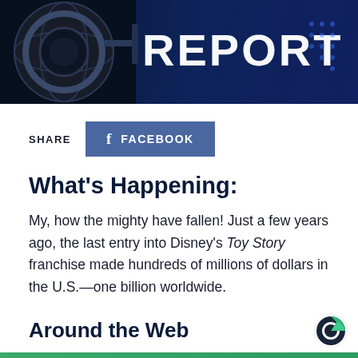[Figure (illustration): Dark navy blue header banner with a globe/satellite dish on the left and large white text reading 'REPORT' on the right with blue dot grid pattern]
SHARE  FACEBOOK
What's Happening:
My, how the mighty have fallen! Just a few years ago, the last entry into Disney's Toy Story franchise made hundreds of millions of dollars in the U.S.—one billion worldwide.
Around the Web